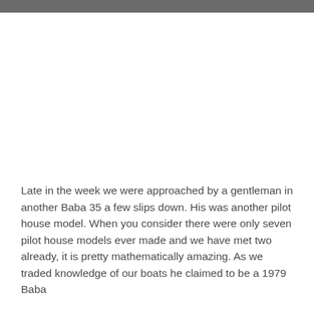Late in the week we were approached by a gentleman in another Baba 35 a few slips down. His was another pilot house model. When you consider there were only seven pilot house models ever made and we have met two already, it is pretty mathematically amazing. As we traded knowledge of our boats he claimed to be a 1979 Baba with both Sammie in Honconshims Boba account and